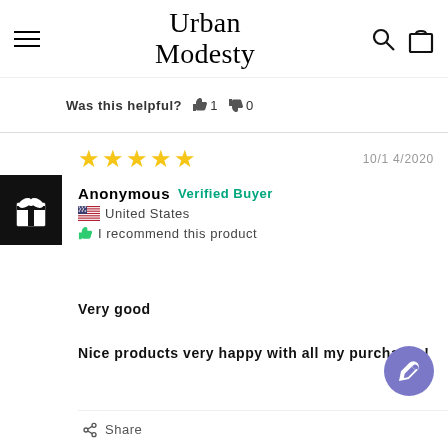Urban Modesty
Was this helpful? 👍 1 👎 0
[Figure (screenshot): Gift/loyalty widget icon on left side]
★★★★★  10/14/2020
Anonymous  Verified Buyer
🇺🇸 United States
👍 I recommend this product

Very good

Nice products very happy with all my purchases!
Share